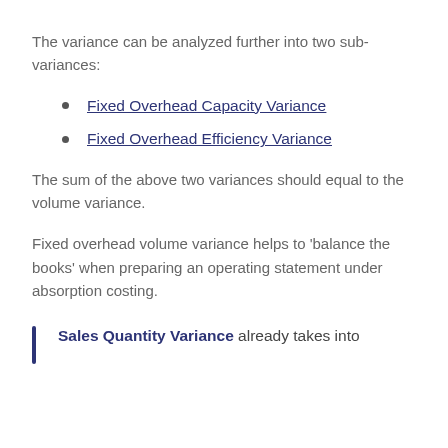The variance can be analyzed further into two sub-variances:
Fixed Overhead Capacity Variance
Fixed Overhead Efficiency Variance
The sum of the above two variances should equal to the volume variance.
Fixed overhead volume variance helps to ‘balance the books’ when preparing an operating statement under absorption costing.
Sales Quantity Variance already takes into